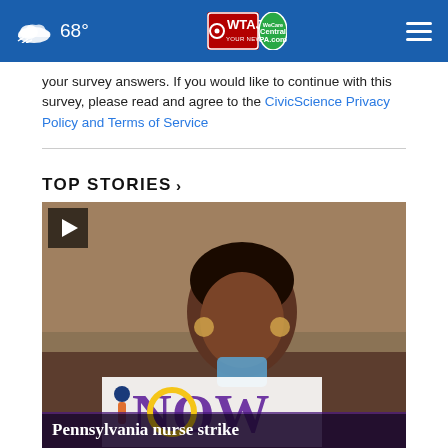68° WTAJ CentralPA.com
your survey answers. If you would like to continue with this survey, please read and agree to the CivicScience Privacy Policy and Terms of Service
TOP STORIES ›
[Figure (screenshot): Video thumbnail showing a woman holding a NOW protest sign with a play button overlay. Caption text reads: Pennsylvania nurse strike]